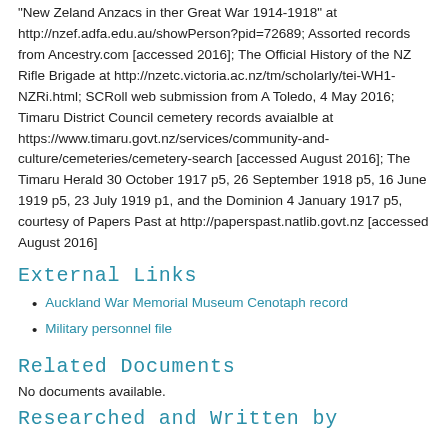"New Zeland Anzacs in ther Great War 1914-1918" at http://nzef.adfa.edu.au/showPerson?pid=72689; Assorted records from Ancestry.com [accessed 2016]; The Official History of the NZ Rifle Brigade at http://nzetc.victoria.ac.nz/tm/scholarly/tei-WH1-NZRi.html; SCRoll web submission from A Toledo, 4 May 2016; Timaru District Council cemetery records avaialble at https://www.timaru.govt.nz/services/community-and-culture/cemeteries/cemetery-search [accessed August 2016]; The Timaru Herald 30 October 1917 p5, 26 September 1918 p5, 16 June 1919 p5, 23 July 1919 p1, and the Dominion 4 January 1917 p5, courtesy of Papers Past at http://paperspast.natlib.govt.nz [accessed August 2016]
External Links
Auckland War Memorial Museum Cenotaph record
Military personnel file
Related Documents
No documents available.
Researched and Written by